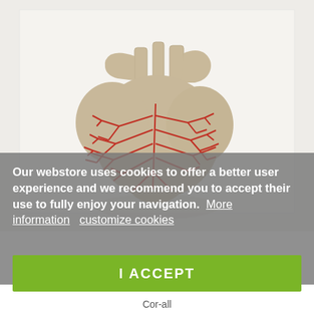[Figure (illustration): Artistic anatomical heart model made of paper/cork material with red branching blood vessel pattern overlaid, photographed against a light grey/white background with a subtle reflection below.]
Our webstore uses cookies to offer a better user experience and we recommend you to accept their use to fully enjoy your navigation.  More information  customize cookies
I ACCEPT
Cor-all